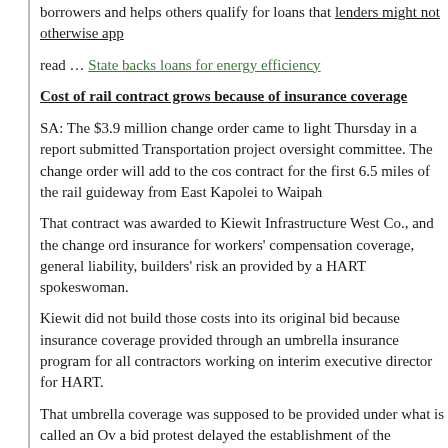borrowers and helps others qualify for loans that lenders might not otherwise app
read … State backs loans for energy efficiency
Cost of rail contract grows because of insurance coverage
SA: The $3.9 million change order came to light Thursday in a report submitted Transportation project oversight committee. The change order will add to the cost contract for the first 6.5 miles of the rail guideway from East Kapolei to Waipah
That contract was awarded to Kiewit Infrastructure West Co., and the change ord insurance for workers' compensation coverage, general liability, builders' risk an provided by a HART spokeswoman.
Kiewit did not build those costs into its original bid because insurance coverage provided through an umbrella insurance program for all contractors working on interim executive director for HART.
That umbrella coverage was supposed to be provided under what is called an Ov a bid protest delayed the establishment of the program, Hamayasu said.
read … Cost of rail contract grows because of insurance coverage
ACLU Admits Homeless Litigation Aims to Advance Policy, not Civil Libert